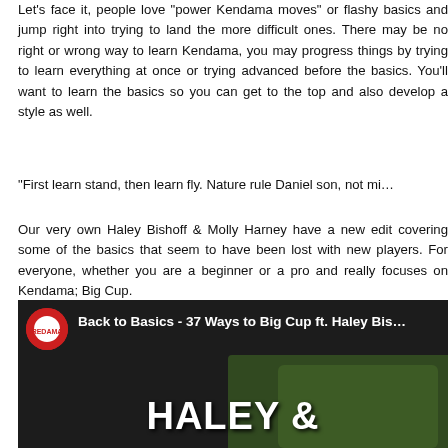Let's face it, people love "power Kendama moves" or flashy basics and jump right into trying to land the more difficult ones. There may be no right or wrong way to learn Kendama, you may progress things by trying to learn everything at once or trying advanced before the basics. You'll want to learn the basics so you can get to the top and also develop a style as well.
“First learn stand, then learn fly. Nature rule Daniel son, not mi…”
Our very own Haley Bishoff & Molly Harney have a new edit covering some of the basics that seem to have been lost with new players. For everyone, whether you are a beginner or a pro and really focuses on Kendama; Big Cup.
Check it out!
[Figure (screenshot): Video thumbnail for 'Back to Basics - 37 Ways to Big Cup ft. Haley Bis...' showing the title bar with a red circular logo and large white text reading 'HALEY &' at the bottom against a dark background with foliage.]